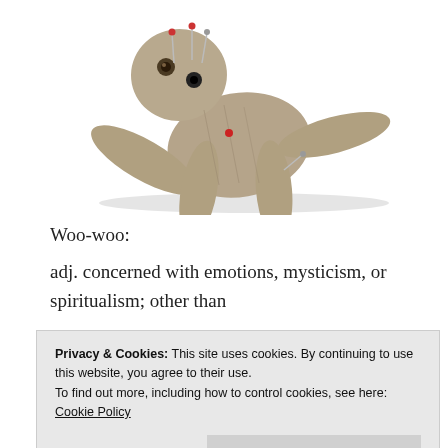[Figure (photo): A burlap voodoo doll lying on a white background, with pins stuck into it including red-topped pins in the head and body areas, and button eyes.]
Woo-woo:
adj. concerned with emotions, mysticism, or spiritualism; other than rational or scientific; mysterious; new agey. Also n., a person who has
Privacy & Cookies: This site uses cookies. By continuing to use this website, you agree to their use. To find out more, including how to control cookies, see here: Cookie Policy
woo (or simply woo) but what's it all about and is it